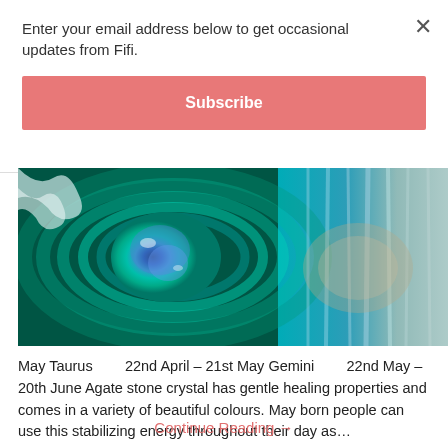Enter your email address below to get occasional updates from Fifi.
Subscribe
[Figure (photo): Close-up macro photograph of a teal and blue agate geode/crystal stone showing concentric banded patterns and a central cavity with blue crystals]
May Taurus        22nd April – 21st May Gemini        22nd May – 20th June Agate stone crystal has gentle healing properties and comes in a variety of beautiful colours. May born people can use this stabilizing energy throughout their day as…
Continue Reading →